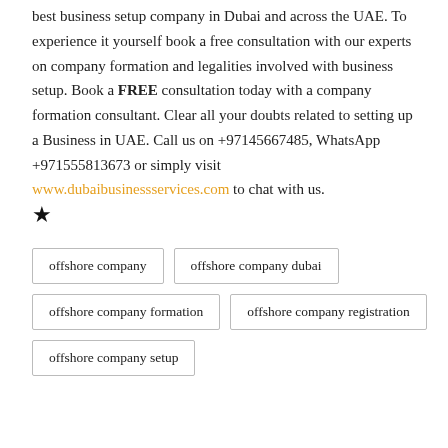best business setup company in Dubai and across the UAE. To experience it yourself book a free consultation with our experts on company formation and legalities involved with business setup. Book a FREE consultation today with a company formation consultant. Clear all your doubts related to setting up a Business in UAE. Call us on +97145667485, WhatsApp +971555813673 or simply visit www.dubaibusinessservices.com to chat with us.
★
offshore company
offshore company dubai
offshore company formation
offshore company registration
offshore company setup